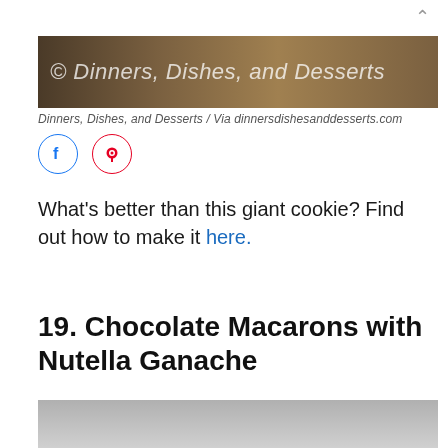[Figure (photo): Food photo banner with watermark text '© Dinners, Dishes, and Desserts' over a warm brown baked goods background]
Dinners, Dishes, and Desserts / Via dinnersdishesanddesserts.com
[Figure (illustration): Social media icons: Facebook (blue circle) and Pinterest (red circle)]
What's better than this giant cookie? Find out how to make it here.
19. Chocolate Macarons with Nutella Ganache
[Figure (photo): Photo of chocolate macarons with a pink 'Find more in the app!' overlay banner]